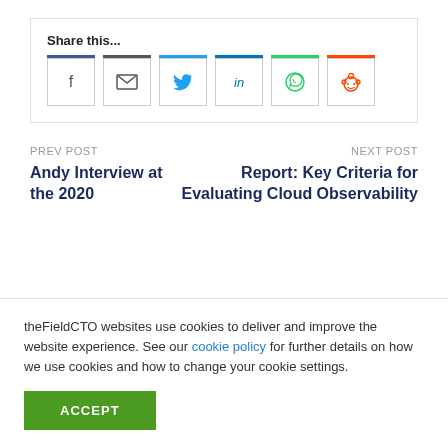Share this...
[Figure (infographic): Social sharing buttons: Facebook, Email, Twitter, LinkedIn, WhatsApp, Reddit]
PREV POST
Andy Interview at the 2020
NEXT POST
Report: Key Criteria for Evaluating Cloud Observability
theFieldCTO websites use cookies to deliver and improve the website experience. See our cookie policy for further details on how we use cookies and how to change your cookie settings.